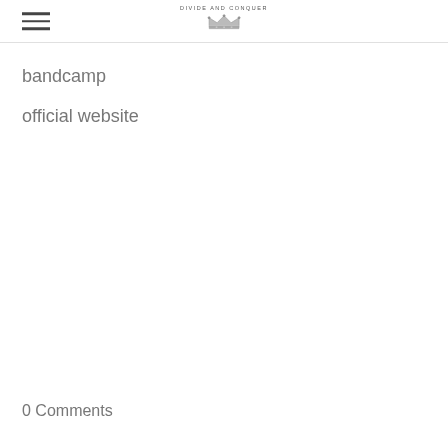DIVIDE AND CONQUER
bandcamp
official website
0 Comments